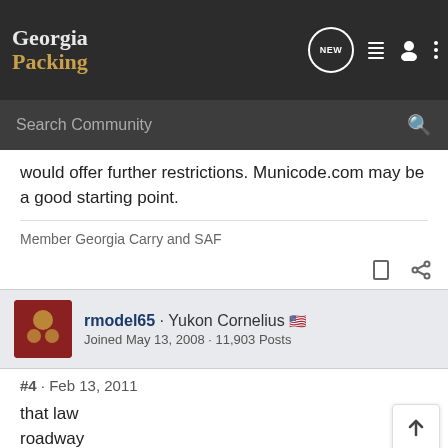Georgia Packing
would offer further restrictions. Municode.com may be a good starting point.
Member Georgia Carry and SAF
rmodel65 · Yukon Cornelius 🇺🇸
Joined May 13, 2008 · 11,903 Posts
#4 · Feb 13, 2011
that law… a roadway…
[Figure (screenshot): Savage Arms advertisement banner: 'THE BEST STORIES START WITH SAVAGE']